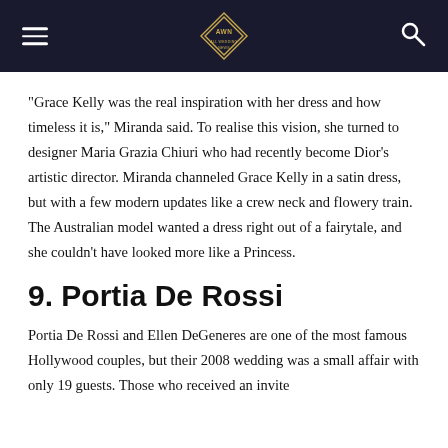AWN ALL WEDDING NEWS
“Grace Kelly was the real inspiration with her dress and how timeless it is,” Miranda said. To realise this vision, she turned to designer Maria Grazia Chiuri who had recently become Dior’s artistic director. Miranda channeled Grace Kelly in a satin dress, but with a few modern updates like a crew neck and flowery train. The Australian model wanted a dress right out of a fairytale, and she couldn’t have looked more like a Princess.
9. Portia De Rossi
Portia De Rossi and Ellen DeGeneres are one of the most famous Hollywood couples, but their 2008 wedding was a small affair with only 19 guests. Those who received an invite